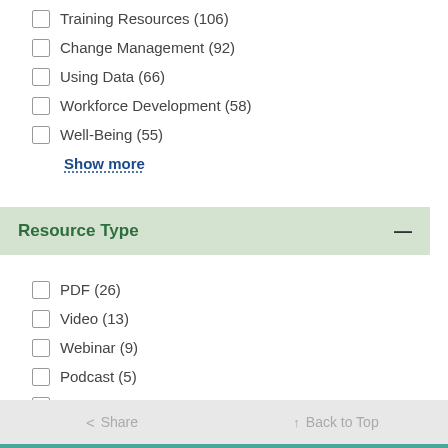Training Resources (106)
Change Management (92)
Using Data (66)
Workforce Development (58)
Well-Being (55)
Show more
Resource Type
PDF (26)
Video (13)
Webinar (9)
Podcast (5)
Infographic (1)
< Share   ↑ Back to Top